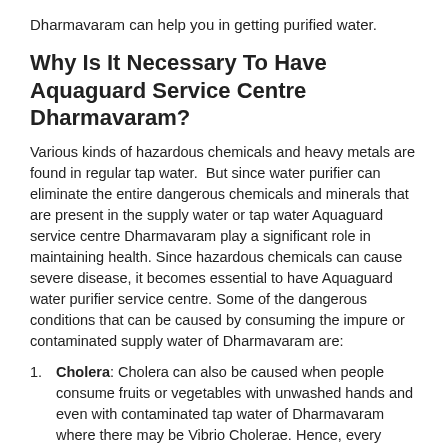Dharmavaram can help you in getting purified water.
Why Is It Necessary To Have Aquaguard Service Centre Dharmavaram?
Various kinds of hazardous chemicals and heavy metals are found in regular tap water.  But since water purifier can eliminate the entire dangerous chemicals and minerals that are present in the supply water or tap water Aquaguard service centre Dharmavaram play a significant role in maintaining health. Since hazardous chemicals can cause severe disease, it becomes essential to have Aquaguard water purifier service centre. Some of the dangerous conditions that can be caused by consuming the impure or contaminated supply water of Dharmavaram are:
Cholera: Cholera can also be caused when people consume fruits or vegetables with unwashed hands and even with contaminated tap water of Dharmavaram where there may be Vibrio Cholerae. Hence, every house should